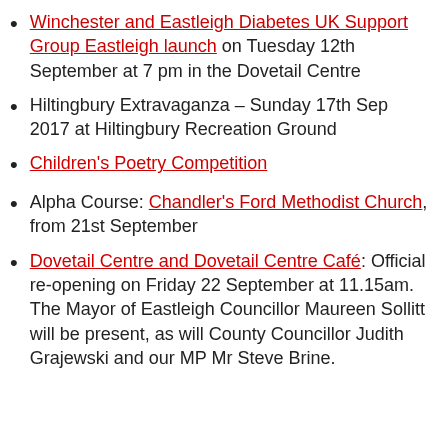Winchester and Eastleigh Diabetes UK Support Group Eastleigh launch on Tuesday 12th September at 7 pm in the Dovetail Centre
Hiltingbury Extravaganza – Sunday 17th Sep 2017 at Hiltingbury Recreation Ground
Children's Poetry Competition
Alpha Course: Chandler's Ford Methodist Church, from 21st September
Dovetail Centre and Dovetail Centre Café: Official re-opening on Friday 22 September at 11.15am. The Mayor of Eastleigh Councillor Maureen Sollitt will be present, as will County Councillor Judith Grajewski and our MP Mr Steve Brine.